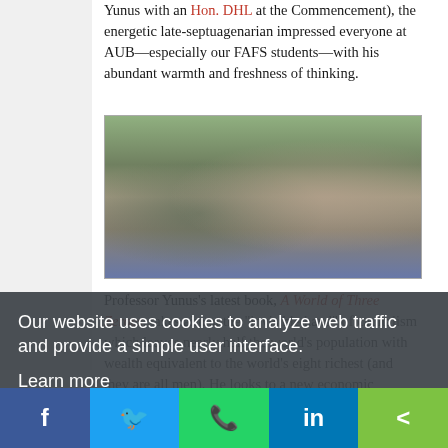Yunus with an Hon. DHL at the Commencement), the energetic late-septuagenarian impressed everyone at AUB—especially our FAFS students—with his abundant warmth and freshness of thinking.
[Figure (photo): Outdoor photograph showing Professor Yunus walking with students on a campus path surrounded by trees and greenery.]
Professor Yunus's latest book, A World of Three Zeroes, takes aim at the "invisible hand" of capitalism which leaves nearly half [the world's population] with wealth equivalent to the world's eight richest (and they are all men). He looks to a new economic movement known as "social
Our website uses cookies to analyze web traffic and provide a simple user interface. Learn more
Got it!